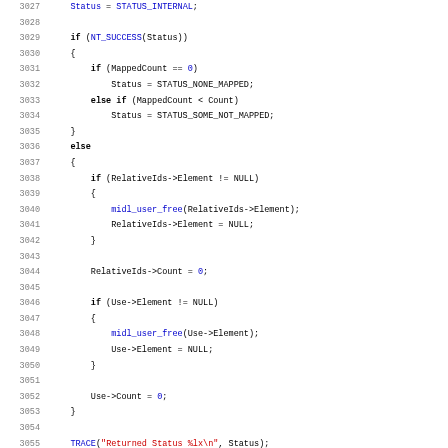[Figure (screenshot): Source code listing in C/C++ showing lines 3027-3059, featuring conditional logic with NT_SUCCESS, MappedCount checks, RelativeIds and Use pointer cleanup, TRACE call, and return statement.]